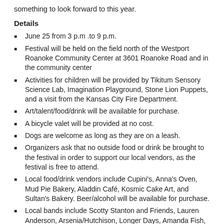something to look forward to this year.
Details
June 25 from 3 p.m .to 9 p.m.
Festival will be held on the field north of the Westport Roanoke Community Center at 3601 Roanoke Road and in the community center
Activities for children will be provided by Tikitum Sensory Science Lab, Imagination Playground, Stone Lion Puppets, and a visit from the Kansas City Fire Department.
Art/talent/food/drink will be available for purchase.
A bicycle valet will be provided at no cost.
Dogs are welcome as long as they are on a leash.
Organizers ask that no outside food or drink be brought to the festival in order to support our local vendors, as the festival is free to attend.
Local food/drink vendors include Cupini's, Anna's Oven, Mud Pie Bakery, Aladdin Café, Kosmic Cake Art, and Sultan's Bakery. Beer/alcohol will be available for purchase.
Local bands include Scotty Stanton and Friends, Lauren Anderson, Arsenia/Hutchison, Longer Days, Amanda Fish, Frankowski, KC Bear Fighters, My Oh My! and Salar.